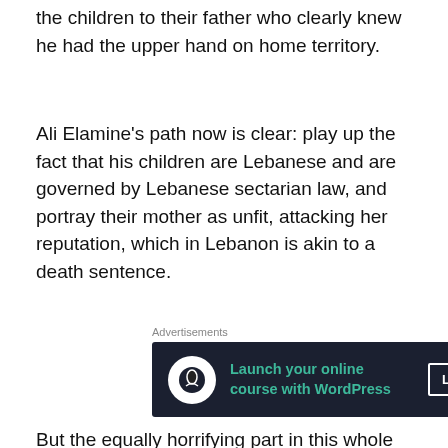the children to their father who clearly knew he had the upper hand on home territory.
Ali Elamine’s path now is clear: play up the fact that his children are Lebanese and are governed by Lebanese sectarian law, and portray their mother as unfit, attacking her reputation, which in Lebanon is akin to a death sentence.
[Figure (infographic): Dark navy advertisement banner: Launch your online course with WordPress. Learn More button.]
But the equally horrifying part in this whole story isn’t only Ali Elamine’s character, but rather how Australia’s 60 Minutes crew handled the entire affair.
[Figure (infographic): Orange advertisement banner: Search, browse, and email with more privacy. DuckDuckGo logo.]